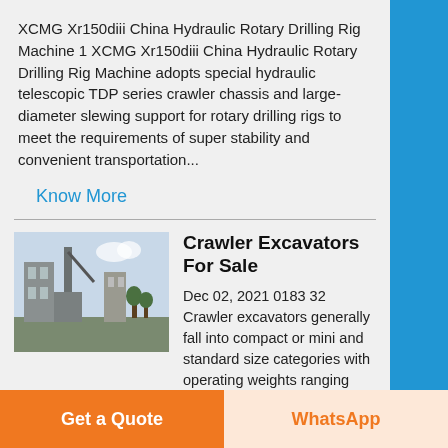XCMG Xr150diii China Hydraulic Rotary Drilling Rig Machine 1 XCMG Xr150diii China Hydraulic Rotary Drilling Rig Machine adopts special hydraulic telescopic TDP series crawler chassis and large-diameter slewing support for rotary drilling rigs to meet the requirements of super stability and convenient transportation...
Know More
[Figure (photo): Thumbnail photo of crawler excavator or drilling rig machine at a construction site]
Crawler Excavators For Sale
Dec 02, 2021 0183 32 Crawler excavators generally fall into compact or mini and standard size categories with operating weights ranging from 2,000 to 100,000 pounds and beyond A notable type of crawler excavator is the long reach excavator...
Get a Quote
WhatsApp